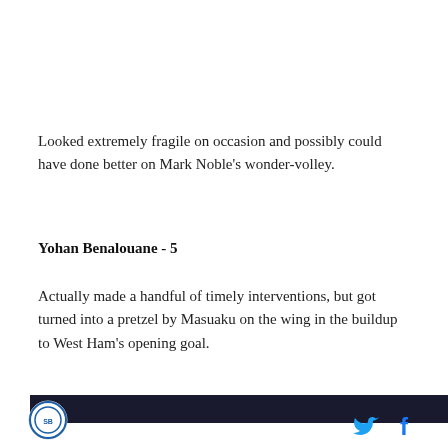Looked extremely fragile on occasion and possibly could have done better on Mark Noble’s wonder-volley.
Yohan Benalouane - 5
Actually made a handful of timely interventions, but got turned into a pretzel by Masuaku on the wing in the buildup to West Ham’s opening goal.
[Figure (photo): Dark image strip at the bottom of the article]
Site logo and social media icons (Twitter, Facebook)